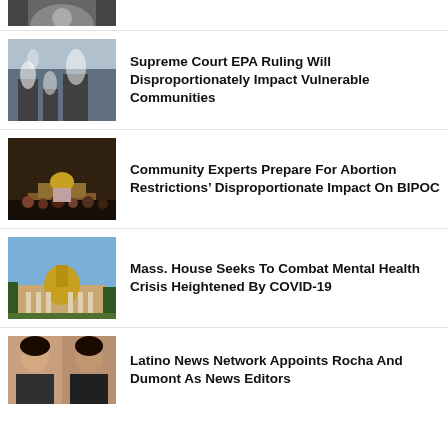[Figure (photo): Partial photo of a person, cropped at top of page]
[Figure (photo): Factory or power plant with smoke stacks emitting smoke/steam]
Supreme Court EPA Ruling Will Disproportionately Impact Vulnerable Communities
[Figure (photo): Crowd of protesters outside a building with golden dome, woman holding sign]
Community Experts Prepare For Abortion Restrictions’ Disproportionate Impact On BIPOC
[Figure (photo): Massachusetts State House with golden dome, blue sky]
Mass. House Seeks To Combat Mental Health Crisis Heightened By COVID-19
[Figure (photo): Two women side by side, news editor portraits]
Latino News Network Appoints Rocha And Dumont As News Editors